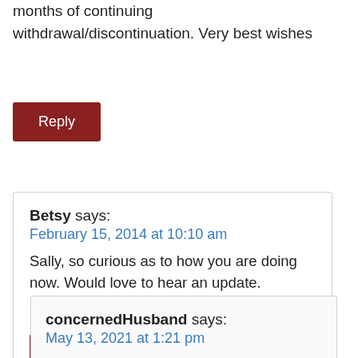months of continuing withdrawal/discontinuation. Very best wishes
Reply
Betsy says:
February 15, 2014 at 10:10 am
Sally, so curious as to how you are doing now. Would love to hear an update.
Best wishes to you!
Reply
concernedHusband says:
May 13, 2021 at 1:21 pm
my wife is suffering after a year of insomnia and anxiety from stopping